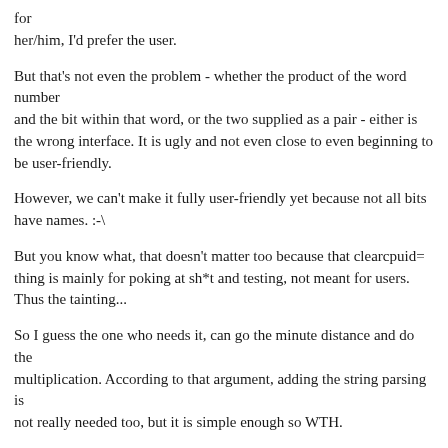for
her/him, I'd prefer the user.
But that's not even the problem - whether the product of the word number
and the bit within that word, or the two supplied as a pair - either is
the wrong interface. It is ugly and not even close to even beginning to
be user-friendly.
However, we can't make it fully user-friendly yet because not all bits
have names. :-\
But you know what, that doesn't matter too because that clearcpuid=
thing is mainly for poking at sh*t and testing, not meant for users.
Thus the tainting...
So I guess the one who needs it, can go the minute distance and do the
multiplication. According to that argument, adding the string parsing is
not really needed too, but it is simple enough so WTH.